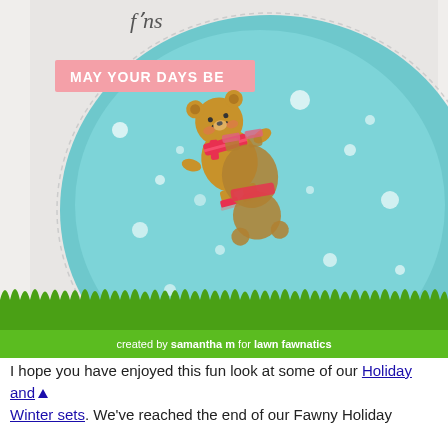[Figure (photo): A handmade greeting card photo showing two illustrated teddy bears wearing red scarves and ice skates on a teal/blue icy background with white snow speckles. One bear is upright skating, one is upside down as if fallen. A pink banner reads 'MAY YOUR DAYS BE' at the top. A green grass border strip runs along the bottom with text 'created by samantha m for lawn fawnatics'.]
I hope you have enjoyed this fun look at some of our Holiday and Winter sets. We've reached the end of our Fawny Holiday